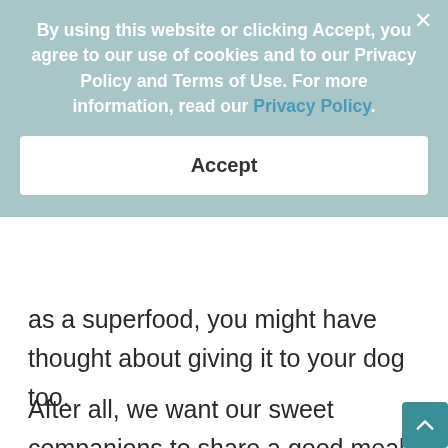By using this website or clicking Accept, you agree to our use of cookies and to our Privacy Policy and Terms of Use. For more information, read our Privacy Policy.
Accept
as a superfood, you might have thought about giving it to your dog too.
After all, we want our sweet companions to share a good meal with us that still promotes